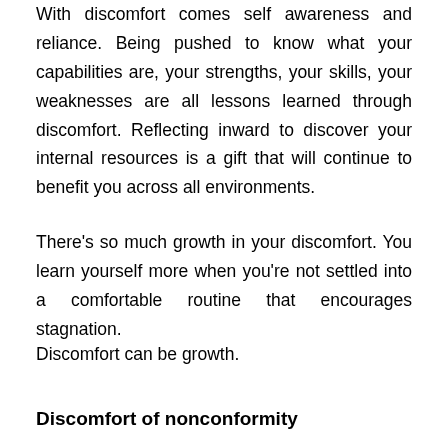With discomfort comes self awareness and reliance. Being pushed to know what your capabilities are, your strengths, your skills, your weaknesses are all lessons learned through discomfort. Reflecting inward to discover your internal resources is a gift that will continue to benefit you across all environments.
There's so much growth in your discomfort. You learn yourself more when you're not settled into a comfortable routine that encourages stagnation.
Discomfort can be growth.
Discomfort of nonconformity